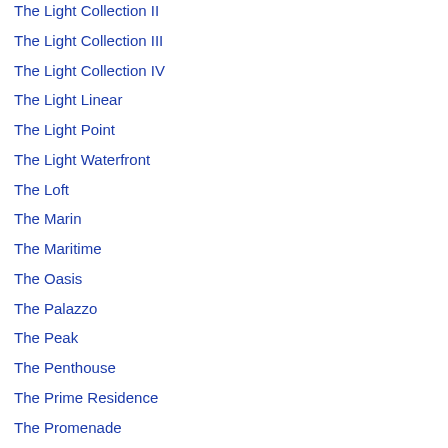The Light Collection II
The Light Collection III
The Light Collection IV
The Light Linear
The Light Point
The Light Waterfront
The Loft
The Marin
The Maritime
The Oasis
The Palazzo
The Peak
The Penthouse
The Prime Residence
The Promenade
The Reef
The Regency
The Spring
The Suites At Straits Quay